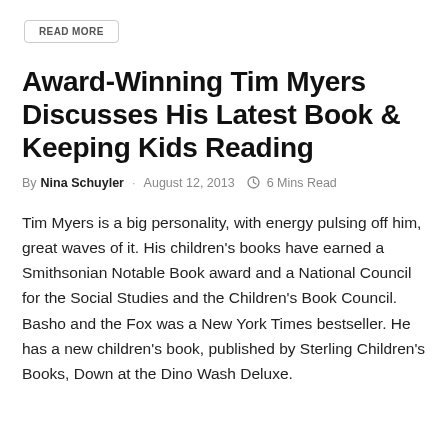READ MORE
Award-Winning Tim Myers Discusses His Latest Book & Keeping Kids Reading
By Nina Schuyler · August 12, 2013 · 6 Mins Read
Tim Myers is a big personality, with energy pulsing off him, great waves of it. His children's books have earned a Smithsonian Notable Book award and a National Council for the Social Studies and the Children's Book Council. Basho and the Fox was a New York Times bestseller. He has a new children's book, published by Sterling Children's Books, Down at the Dino Wash Deluxe.